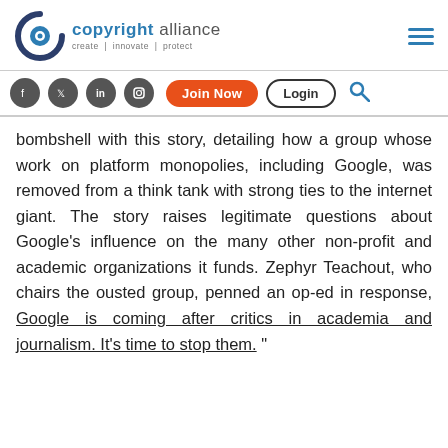[Figure (logo): Copyright Alliance logo with circular 'ca' mark and tagline 'create | innovate | protect']
[Figure (other): Navigation bar with social media icons (Facebook, Twitter, LinkedIn, Instagram), Join Now button, Login button, and search icon]
bombshell with this story, detailing how a group whose work on platform monopolies, including Google, was removed from a think tank with strong ties to the internet giant. The story raises legitimate questions about Google's influence on the many other non-profit and academic organizations it funds. Zephyr Teachout, who chairs the ousted group, penned an op-ed in response, Google is coming after critics in academia and journalism. It's time to stop them. "